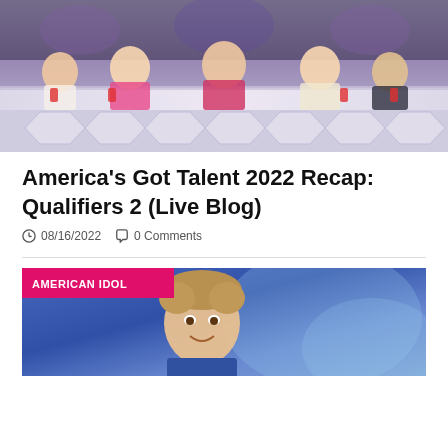[Figure (photo): America's Got Talent judges sitting at a judging table in a TV studio setting]
America's Got Talent 2022 Recap: Qualifiers 2 (Live Blog)
08/16/2022  0 Comments
[Figure (photo): American Idol contestant smiling, with American Idol label badge overlay on blue background]